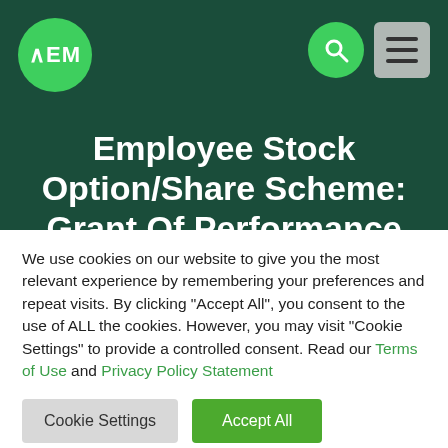[Figure (logo): AEM logo — green circle with white AEM text]
Employee Stock Option/Share Scheme: Grant Of Performance
We use cookies on our website to give you the most relevant experience by remembering your preferences and repeat visits. By clicking “Accept All”, you consent to the use of ALL the cookies. However, you may visit “Cookie Settings” to provide a controlled consent. Read our Terms of Use and Privacy Policy Statement
Cookie Settings | Accept All